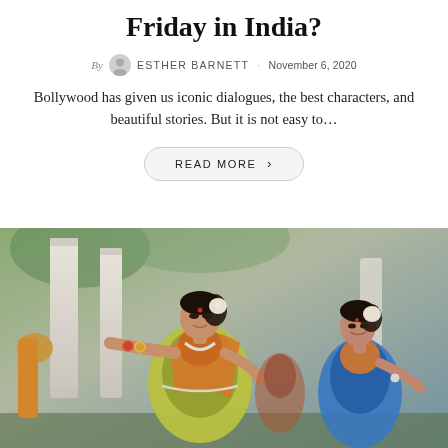Friday in India?
By ESTHER BARNETT · November 6, 2020
Bollywood has given us iconic dialogues, the best characters, and beautiful stories. But it is not easy to...
READ MORE >
[Figure (photo): Two Indian classical dancers in colorful costumes performing outdoors near white columns. The foreground dancer wears a green and orange outfit with silver jewelry and a bindi. A second dancer in blue and orange is visible in the background to the right.]